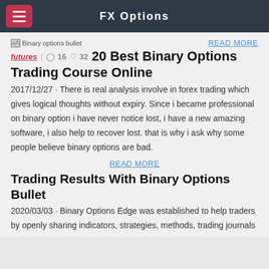FX Options
[Figure (other): Broken image placeholder labeled 'Binary options bullet']
READ MORE
futures | 16 | 32
20 Best Binary Options Trading Course Online
2017/12/27 · There is real analysis involve in forex trading which gives logical thoughts without expiry. Since i became professional on binary option i have never notice lost, i have a new amazing software, i also help to recover lost. that is why i ask why some people believe binary options are bad.
READ MORE
Trading Results With Binary Options Bullet
2020/03/03 · Binary Options Edge was established to help traders by openly sharing indicators, strategies, methods, trading journals